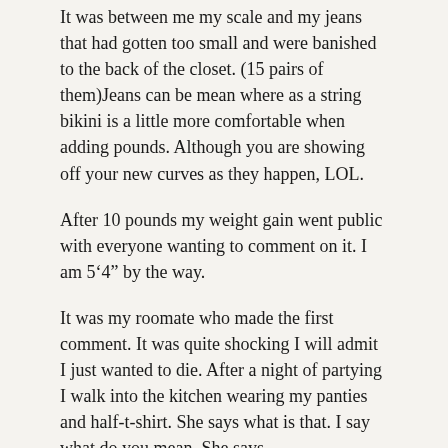It was between me my scale and my jeans that had gotten too small and were banished to the back of the closet. (15 pairs of them)Jeans can be mean where as a string bikini is a little more comfortable when adding pounds. Although you are showing off your new curves as they happen, LOL.
After 10 pounds my weight gain went public with everyone wanting to comment on it. I am 5‘4” by the way.
It was my roomate who made the first comment. It was quite shocking I will admit I just wanted to die. After a night of partying I walk into the kitchen wearing my panties and half-t-shirt. She says what is that. I say what do you mean. She says